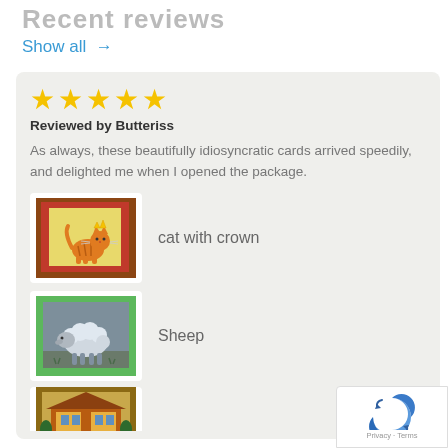Recent reviews
Show all →
★★★★★
Reviewed by Butteriss
As always, these beautifully idiosyncratic cards arrived speedily, and delighted me when I opened the package.
[Figure (illustration): Greeting card image showing an orange cat with a crown on a yellow background with red and brown border]
cat with crown
[Figure (illustration): Greeting card image showing a white sheep on a grey background with green border]
Sheep
[Figure (illustration): Greeting card image partially visible at bottom, showing a building]
[Figure (other): reCAPTCHA badge with Privacy and Terms links]